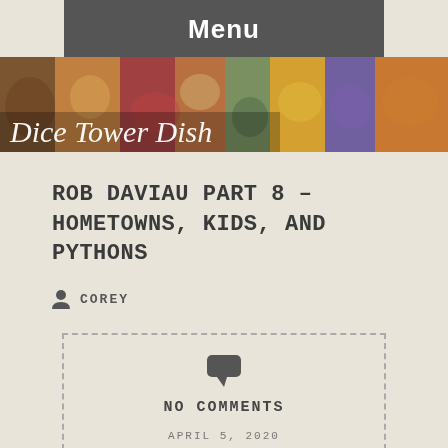Menu
[Figure (photo): Dice Tower Dish blog header banner with food images]
ROB DAVIAU PART 8 – HOMETOWNS, KIDS, AND PYTHONS
COREY
NO COMMENTS
APRIL 5, 2020